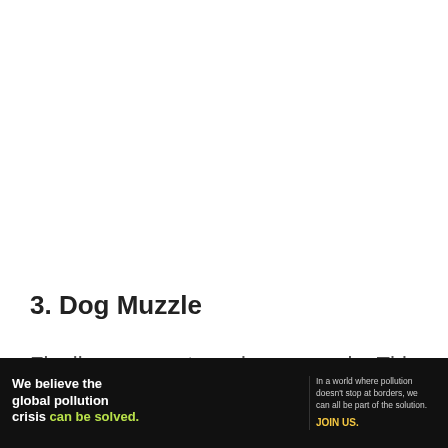3. Dog Muzzle
Finally, you can try using a muzzle. This may not be the most desirable solution, but it can help
[Figure (illustration): Advertisement banner for Pure Earth organization. Black background. Left side reads 'We believe the global pollution crisis can be solved.' in white and green text. Middle reads 'In a world where pollution doesn't stop at borders, we can all be part of the solution.' in small gray text, with 'JOIN US.' in yellow. Right side shows Pure Earth logo with diamond/arrow icon in gold/yellow and white text 'PURE EARTH'.]